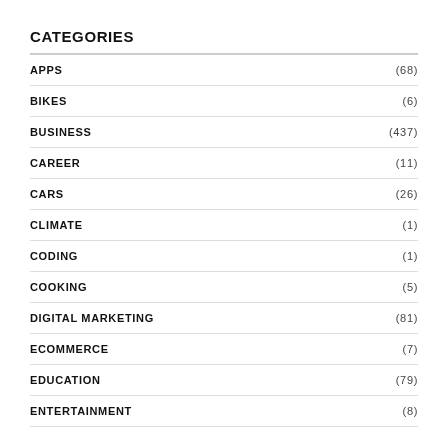CATEGORIES
APPS (68)
BIKES (6)
BUSINESS (437)
CAREER (11)
CARS (26)
CLIMATE (1)
CODING (1)
COOKING (5)
DIGITAL MARKETING (81)
ECOMMERCE (7)
EDUCATION (79)
ENTERTAINMENT (8)